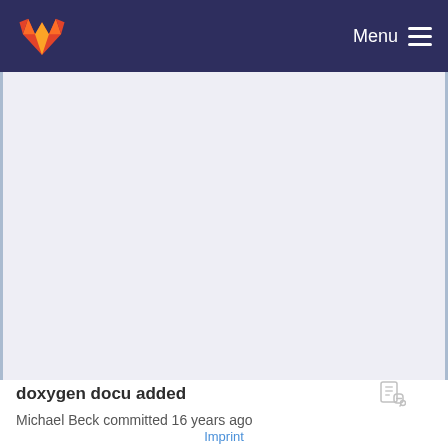Menu
[Figure (other): GitLab fox logo in orange and red on dark navy navigation bar]
doxygen docu added
Michael Beck committed 16 years ago
Imprint